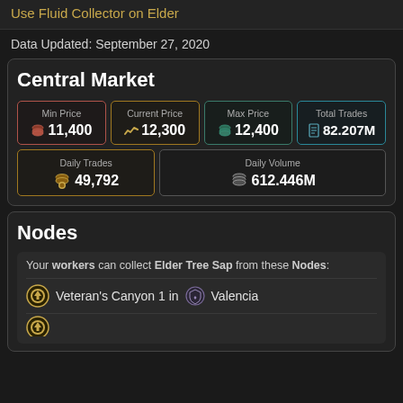Use Fluid Collector on Elder
Data Updated: September 27, 2020
Central Market
| Min Price | Current Price | Max Price | Total Trades |
| --- | --- | --- | --- |
| 11,400 | 12,300 | 12,400 | 82.207M |
| Daily Trades | Daily Volume |
| --- | --- |
| 49,792 | 612.446M |
Nodes
Your workers can collect Elder Tree Sap from these Nodes:
Veteran's Canyon 1 in Valencia